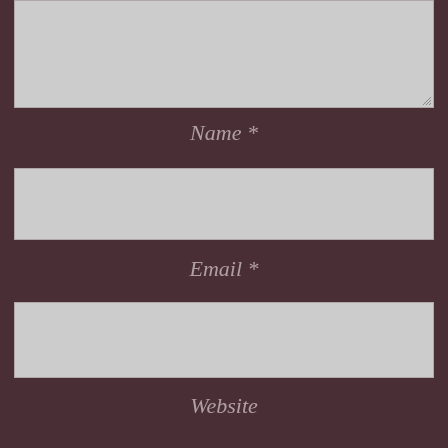[Figure (screenshot): Web form showing a textarea (top, partially visible), followed by Name, Email, and Website input fields on a dark brownish-red background. Each label is centered italic text with an asterisk for required fields.]
Name *
Email *
Website